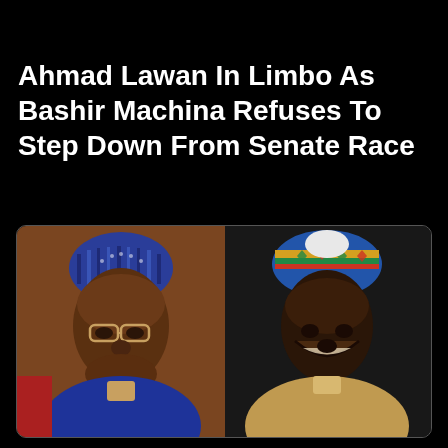Ahmad Lawan In Limbo As Bashir Machina Refuses To Step Down From Senate Race
[Figure (photo): Side-by-side portrait photos of two Nigerian politicians: Ahmad Lawan (left) wearing a blue embroidered cap and blue robe, and Bashir Machina (right) wearing a colorful traditional cap and tan robe, both against dark backgrounds inside a rounded dark frame.]